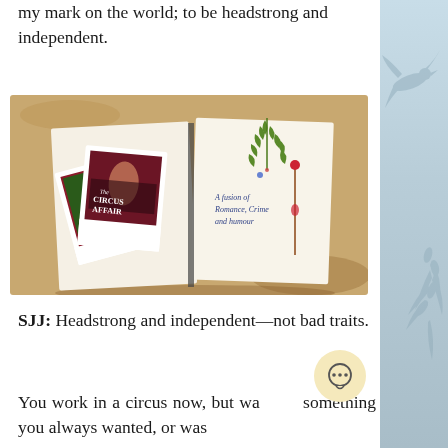my mark on the world; to be headstrong and independent.
[Figure (photo): An open notebook/journal lying on sand with polaroid photos of 'The Circus Affair' book cover tucked inside, along with pressed green leaves and a small red flower. The notebook page reads 'A fusion of Romance, Crime and humour'.]
SJJ: Headstrong and independent—not bad traits.
You work in a circus now, but was something you always wanted, or was